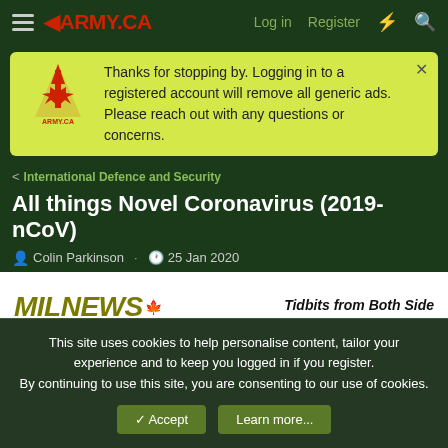ARMY.CA — Log in  Register
Thanks for stopping by. Logging in to a registered account will remove all generic ads. Please reach out with any questions or concerns.
< International Defence and Security
All things Novel Coronavirus (2019-nCoV)
Colin Parkinson · 25 Jan 2020
[Figure (screenshot): MILNEWS Military News For Canadians — Tidbits from Both Sides of the Fight banner advertisement]
Remius
Army.ca Fixture
This site uses cookies to help personalise content, tailor your experience and to keep you logged in if you register.
By continuing to use this site, you are consenting to our use of cookies.
✓ Accept    Learn more...